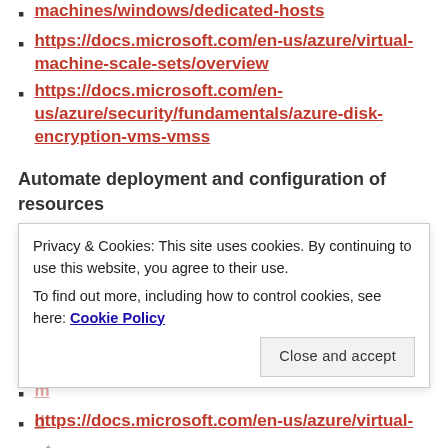https://docs.microsoft.com/en-us/azure/virtual-machines/windows/dedicated-hosts
https://docs.microsoft.com/en-us/azure/virtual-machine-scale-sets/overview
https://docs.microsoft.com/en-us/azure/security/fundamentals/azure-disk-encryption-vms-vmss
Automate deployment and configuration of resources
https://docs.microsoft.com/en-us/azure/azure-resource-manager/templates/export-template-portal
https://docs.microsoft.com/en-us/azure/azure-resource-manager/templates/template-syntax (go...
https://docs.microsoft.com/en-us/azure/virtual-
Privacy & Cookies: This site uses cookies. By continuing to use this website, you agree to their use. To find out more, including how to control cookies, see here: Cookie Policy
Close and accept